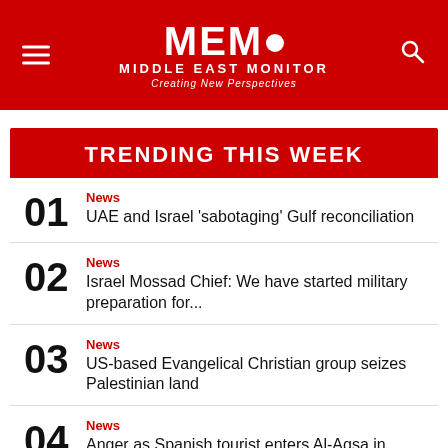MEMO MIDDLE EAST MONITOR Creating New Perspectives
TRENDING THIS WEEK
01 News UAE and Israel 'sabotaging' Gulf reconciliation
02 News Israel Mossad Chief: We have started military preparation for...
03 News US-based Evangelical Christian group seizes Palestinian land
04 News Anger as Spanish tourist enters Al-Aqsa in 'immodest' clothing
05 News